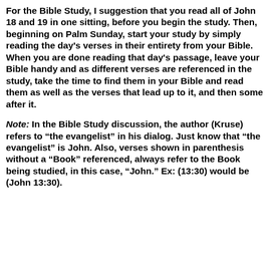For the Bible Study, I suggestion that you read all of John 18 and 19 in one sitting, before you begin the study. Then, beginning on Palm Sunday, start your study by simply reading the day's verses in their entirety from your Bible. When you are done reading that day's passage, leave your Bible handy and as different verses are referenced in the study, take the time to find them in your Bible and read them as well as the verses that lead up to it, and then some after it.
Note: In the Bible Study discussion, the author (Kruse) refers to "the evangelist" in his dialog. Just know that "the evangelist" is John. Also, verses shown in parenthesis without a "Book" referenced, always refer to the Book being studied, in this case, "John." Ex: (13:30) would be (John 13:30).